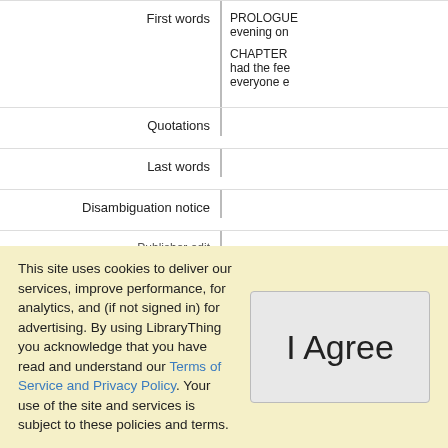| Label | Content |
| --- | --- |
| First words | PROLOGUE evening on...
CHAPTER had the fee everyone e... |
| Quotations |  |
| Last words |  |
| Disambiguation notice |  |
| Publisher... |  |
This site uses cookies to deliver our services, improve performance, for analytics, and (if not signed in) for advertising. By using LibraryThing you acknowledge that you have read and understand our Terms of Service and Privacy Policy. Your use of the site and services is subject to these policies and terms.
I Agree